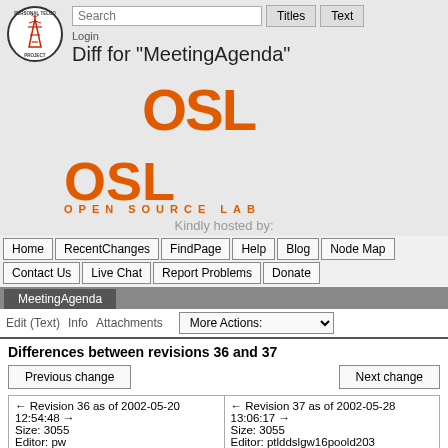[Figure (logo): Personal Telco Project circular logo with red tower antenna]
Login
Diff for "MeetingAgenda"
[Figure (logo): OSL Open Source Lab orange logo]
Kindly hosted by:
Home | RecentChanges | FindPage | Help | Blog | Node Map
Contact Us | Live Chat | Report Problems | Donate
MeetingAgenda
Edit (Text)  Info  Attachments  More Actions:
Differences between revisions 36 and 37
| Revision 36 | Revision 37 |
| --- | --- |
| ← Revision 36 as of 2002-05-20 12:54:48 →
Size: 3055
Editor: pw
Comment: | ← Revision 37 as of 2002-05-28 13:06:17 →
Size: 3055
Editor: ptlddslgw16poold203
Comment: |